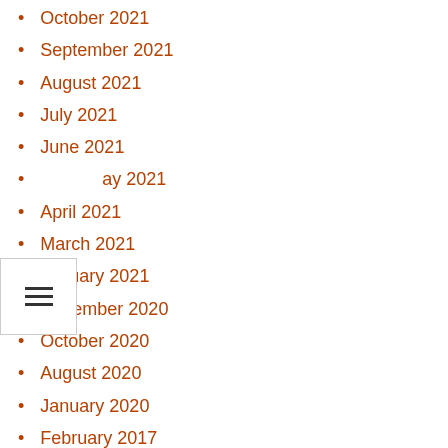October 2021
September 2021
August 2021
July 2021
June 2021
May 2021
April 2021
March 2021
January 2021
December 2020
October 2020
August 2020
January 2020
February 2017
August 2013
November 2012
May 2012
March 2012
February 2012